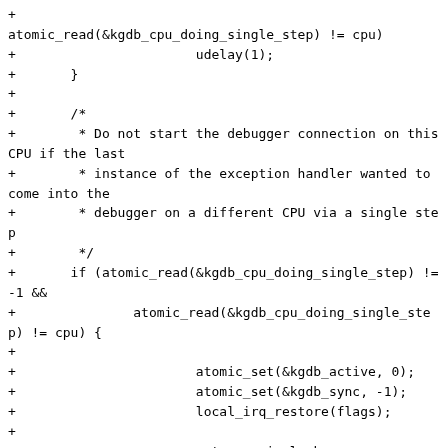+
atomic_read(&kgdb_cpu_doing_single_step) != cpu)
+                       udelay(1);
+       }
+
+       /*
+        * Do not start the debugger connection on this CPU if the last
+        * instance of the exception handler wanted to come into the
+        * debugger on a different CPU via a single step
+        */
+       if (atomic_read(&kgdb_cpu_doing_single_step) != -1 &&
+               atomic_read(&kgdb_cpu_doing_single_step) != cpu) {
+
+                       atomic_set(&kgdb_active, 0);
+                       atomic_set(&kgdb_sync, -1);
+                       local_irq_restore(flags);
+
+                       goto acquirelock;
+       }
+
+       if (!kgdb_io_ready(1)) {
+               error = 1;
+               goto kgdb_restore; /* No I/O connection, so resume the system */
+       }
+